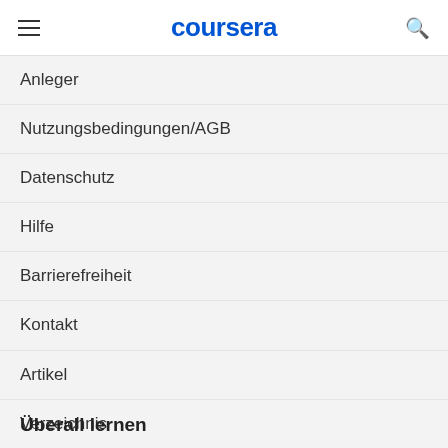coursera
Anleger
Nutzungsbedingungen/AGB
Datenschutz
Hilfe
Barrierefreiheit
Kontakt
Artikel
Verzeichnis
Partnerunternehmen
Stellungnahme zu moderner Sklaverei
Überall lernen